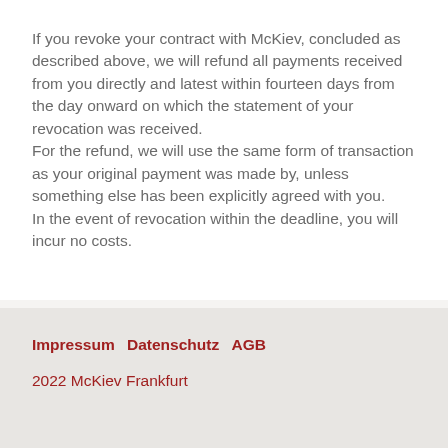If you revoke your contract with McKiev, concluded as described above, we will refund all payments received from you directly and latest within fourteen days from the day onward on which the statement of your revocation was received.
For the refund, we will use the same form of transaction as your original payment was made by, unless something else has been explicitly agreed with you.
In the event of revocation within the deadline, you will incur no costs.
Impressum  Datenschutz  AGB
2022 McKiev Frankfurt